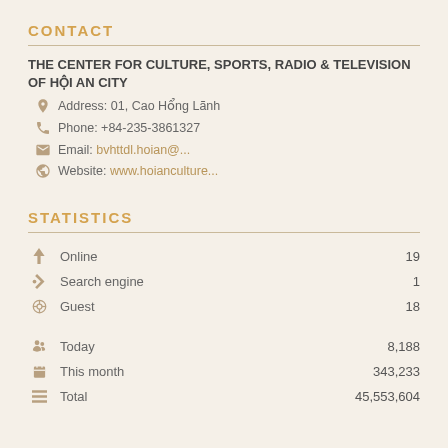CONTACT
THE CENTER FOR CULTURE, SPORTS, RADIO & TELEVISION OF HỘI AN CITY
Address: 01, Cao Hổng Lãnh
Phone: +84-235-3861327
Email: [redacted]
Website: [redacted]
STATISTICS
Online  19
Search engine  1
Guest  18
Today  8,188
This month  343,233
Total  45,553,604